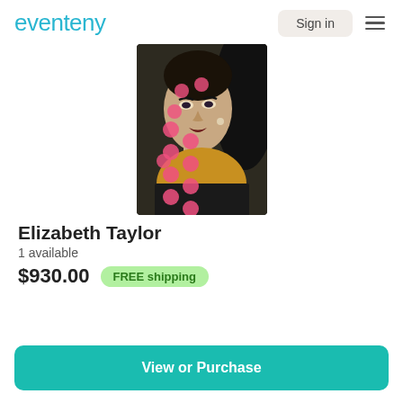eventeny
[Figure (photo): A pop-art style portrait of Elizabeth Taylor with pink/red dot overlays on a dark background, wearing a yellow garment.]
Elizabeth Taylor
1 available
$930.00  FREE shipping
View or Purchase